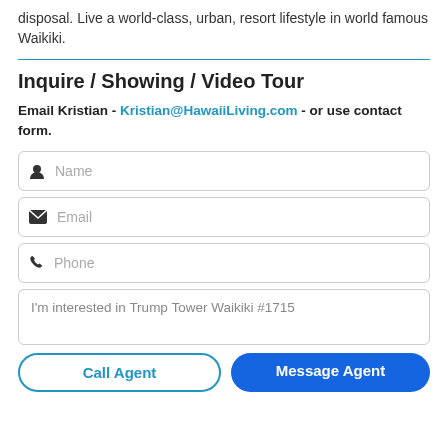disposal. Live a world-class, urban, resort lifestyle in world famous Waikiki.
Inquire / Showing / Video Tour
Email Kristian - Kristian@HawaiiLiving.com - or use contact form.
Name
Email
Phone
I'm interested in Trump Tower Waikiki #1715
Call Agent
Message Agent